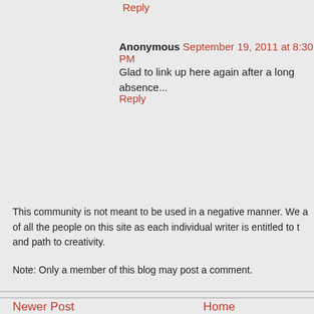Reply
Anonymous September 19, 2011 at 8:30 PM
Glad to link up here again after a long absence...
Reply
This community is not meant to be used in a negative manner. We are respectful of all the people on this site as each individual writer is entitled to their own voice and path to creativity.
Note: Only a member of this blog may post a comment.
Newer Post   Home